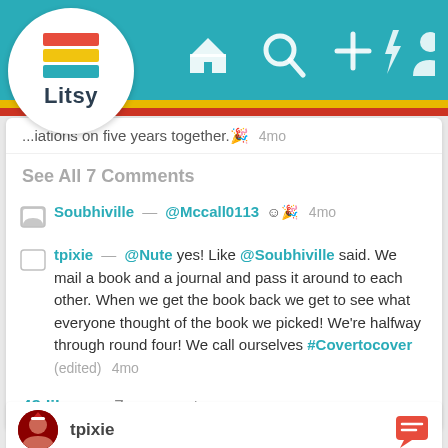[Figure (screenshot): Litsy app logo with stacked book spines in red, yellow, and teal colors inside a white circle, with 'Litsy' text below]
[Figure (screenshot): Litsy app navigation bar with home, search, plus, lightning, and profile icons on teal background]
...iations on five years together. 🎉   4mo
See All 7 Comments
Soubhiville — @Mccall0113 😊🎉   4mo
tpixie — @Nute yes! Like @Soubhiville said. We mail a book and a journal and pass it around to each other. When we get the book back we get to see what everyone thought of the book we picked! We're halfway through round four! We call ourselves #Covertocover (edited)   4mo
48 likes   7 comments
tpixie